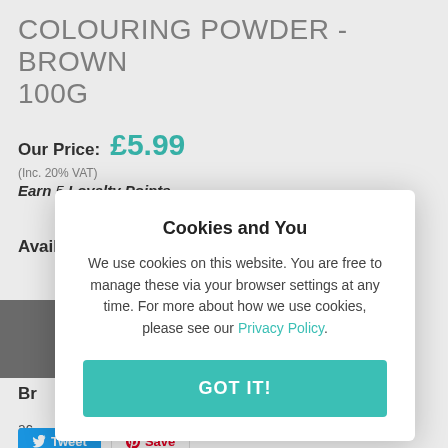COLOURING POWDER - BROWN 100G
Our Price: £5.99
(Inc. 20% VAT)
Earn 5 Loyalty Points
Availability: No stock
NOTIFY ME WHEN THIS ITEM IS AVAILABLE
Cookies and You
We use cookies on this website. You are free to manage these via your browser settings at any time. For more about how we use cookies, please see our Privacy Policy.
GOT IT!